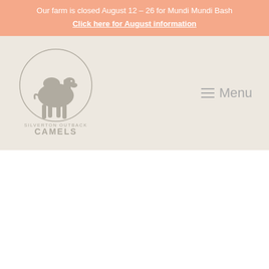Our farm is closed August 12 – 26 for Mundi Mundi Bash
Click here for August information
[Figure (logo): Silverton Outback Camels logo — stylized camel drawing with circular border, text 'SILVERTON OUTBACK' above 'CAMELS']
Menu